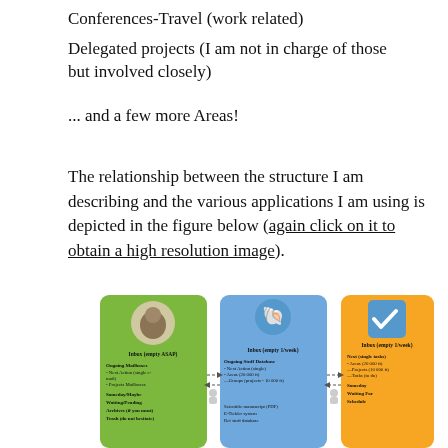Conferences-Travel (work related)
Delegated projects (I am not in charge of those but involved closely)
... and a few more Areas!
The relationship between the structure I am describing and the various applications I am using is depicted in the figure below (again click on it to obtain a high resolution image).
[Figure (infographic): Three colored cards (green, blue, orange) representing different applications (Mail, Stuff Database, Task manager) with icons and text labels showing inbox, ongoing, someday/maybe, waiting/pending, archives sections connected by arrows.]